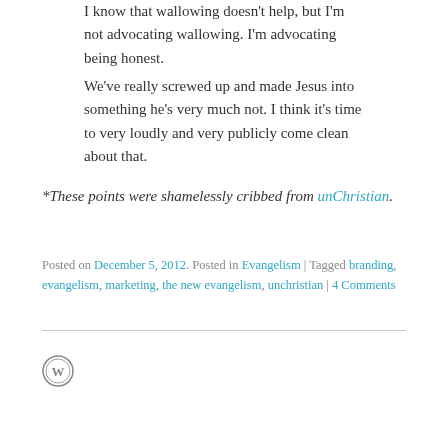I know that wallowing doesn't help, but I'm not advocating wallowing. I'm advocating being honest.
We've really screwed up and made Jesus into something he's very much not. I think it's time to very loudly and very publicly come clean about that.
*These points were shamelessly cribbed from unChristian.
Posted on December 5, 2012. Posted in Evangelism | Tagged branding, evangelism, marketing, the new evangelism, unchristian | 4 Comments
[Figure (logo): WordPress Create a website or blog at WordPress.com button logo]